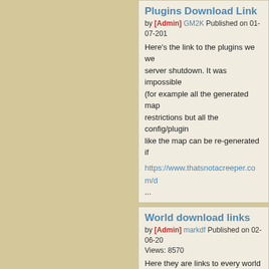Plugins Download Link
by [Admin] GM2K Published on 01-07-201...
Here's the link to the plugins we we... server shutdown. It was impossible... (for example all the generated map... restrictions but all the config/plugin... like the map can be re-generated if...
https://www.thatsnotacreeper.com/d...
...
World download links
by [Admin] markdf Published on 02-06-20... Views: 8570
Here they are links to every world a... the server was shut down. All that is... moment is the archive with all the p... will be coming in the near future.
https://www.thatsnotacreeper.com/d...
https://www.thatsnotacreeper.com/d...
https://www.thatsnotacreeper.com/d...
https://www.thatsnotacreeper.com/d...
https://www.thatsnotacreeper.com/d...
https://www.thatsnotacreeper.com/d...